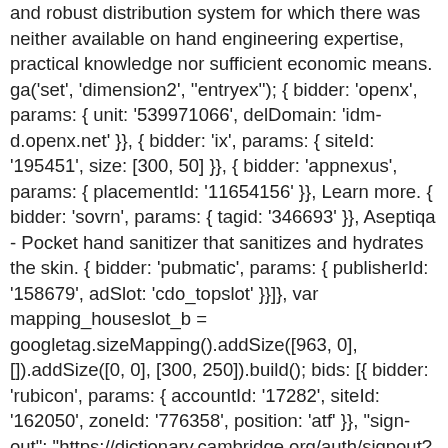and robust distribution system for which there was neither available on hand engineering expertise, practical knowledge nor sufficient economic means. ga('set', 'dimension2', ''entryex''); { bidder: 'openx', params: { unit: '539971066', delDomain: 'idm-d.openx.net' }}, { bidder: 'ix', params: { siteId: '195451', size: [300, 50] }}, { bidder: 'appnexus', params: { placementId: '11654156' }}, Learn more. { bidder: 'sovrn', params: { tagid: '346693' }}, Aseptiqa - Pocket hand sanitizer that sanitizes and hydrates the skin. { bidder: 'pubmatic', params: { publisherId: '158679', adSlot: 'cdo_topslot' }}]}, var mapping_houseslot_b = googletag.sizeMapping().addSize([963, 0], []).addSize([0, 0], [300, 250]).build(); bids: [{ bidder: 'rubicon', params: { accountId: '17282', siteId: '162050', zoneId: '776358', position: 'atf' }}, "sign-out": "https://dictionary.cambridge.org/auth/signout?rid=READER_ID" { bidder: 'onemobile', params: { dcn: '8a969411017171829a5c82bb4deb000b', pos: 'cdo_topslot_728x90' }}, { bidder: 'triplelift', params: {